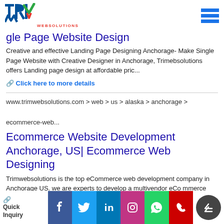TRIM WEBSOLUTIONS
gle Page Website Design
Creative and effective Landing Page Designing Anchorage- Make Single Page Website with Creative Designer in Anchorage, Trimebsolutions offers Landing page design at affordable pric...
Click here to more details
www.trimwebsolutions.com > web > us > alaska > anchorage > ecommerce-web...
Ecommerce Website Development Anchorage, US| Ecommerce Web Designing
Trimwebsolutions is the top eCommerce web development company in Anchorage US. we are experts to develop a multivendor eCommerce portal, shopping cart portal, and online selling po...